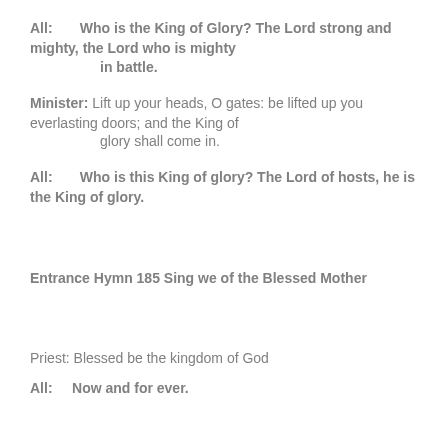All:    Who is the King of Glory? The Lord strong and mighty, the Lord who is mighty in battle.
Minister: Lift up your heads, O gates: be lifted up you everlasting doors; and the King of glory shall come in.
All:    Who is this King of glory? The Lord of hosts, he is the King of glory.
Entrance Hymn 185 Sing we of the Blessed Mother
Priest: Blessed be the kingdom of God
All:    Now and for ever.